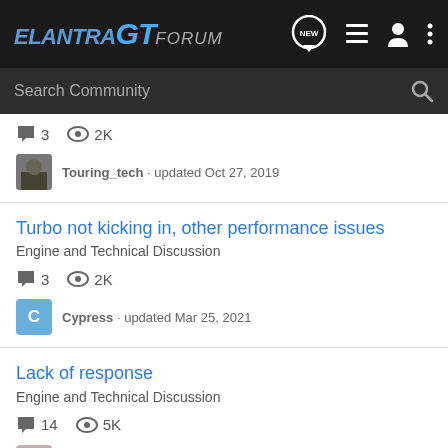ELANTRA GT FORUM
Search Community
3 comments · 2K views · Touring_tech · updated Oct 27, 2019
Turbo not kicking in, other performance issues · Engine and Technical Discussion · 3 comments · 2K views · Cypress · updated Mar 25, 2021
Lack of response · Engine and Technical Discussion · 14 comments · 5K views · Tvalenti · updated Sep 26, 2019